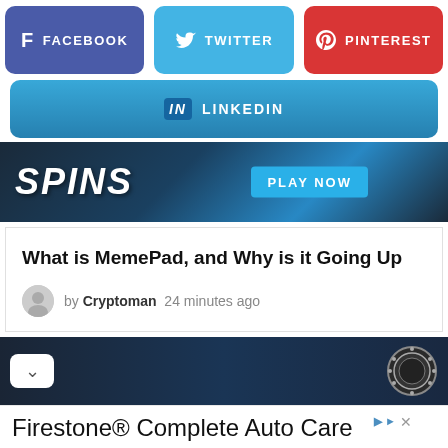[Figure (screenshot): Social share buttons: Facebook (purple), Twitter (blue), Pinterest (red)]
[Figure (screenshot): LinkedIn share button (blue gradient)]
[Figure (screenshot): Casino/gaming banner showing SPINS text and PLAY NOW button]
What is MemePad, and Why is it Going Up
by Cryptoman  24 minutes ago
[Figure (screenshot): Dark blue gaming/casino banner with chevron button and poker chip]
[Figure (screenshot): Advertisement: Firestone Complete Auto Care - Our Expert Technicians Will Go Extra Mile To Ensure Your Complete Confidence On The Road. Firestone - Learn More button]